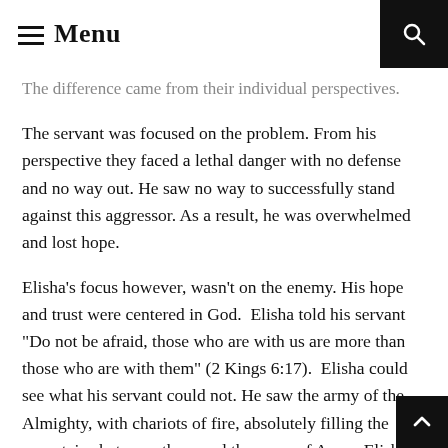Menu
The difference came from their individual perspectives. The servant was focused on the problem. From his perspective they faced a lethal danger with no defense and no way out. He saw no way to successfully stand against this aggressor. As a result, he was overwhelmed and lost hope.
Elisha’s focus however, wasn’t on the enemy. His hope and trust were centered in God. Elisha told his servant “Do not be afraid, those who are with us are more than those who are with them” (2 Kings 6:17). Elisha could see what his servant could not. He saw the army of the Almighty, with chariots of fire, absolutely filling the mountains between them and the army of Aram. Elisha’s servant was unable to embrace hope because his focus and trust we...